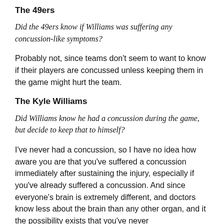The 49ers
Did the 49ers know if Williams was suffering any concussion-like symptoms?
Probably not, since teams don't seem to want to know if their players are concussed unless keeping them in the game might hurt the team.
The Kyle Williams
Did Williams know he had a concussion during the game, but decide to keep that to himself?
I've never had a concussion, so I have no idea how aware you are that you've suffered a concussion immediately after sustaining the injury, especially if you've already suffered a concussion. And since everyone's brain is extremely different, and doctors know less about the brain than any other organ, and it the possibility exists that you've never...